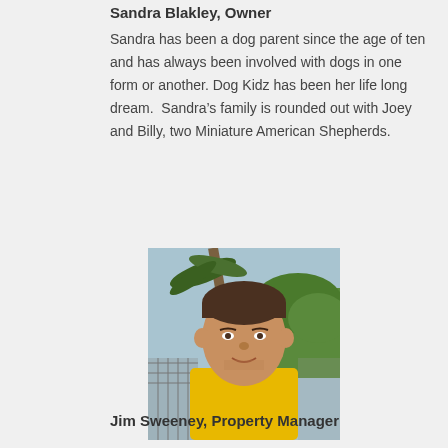Sandra Blakley, Owner
Sandra has been a dog parent since the age of ten and has always been involved with dogs in one form or another. Dog Kidz has been her life long dream.  Sandra’s family is rounded out with Joey and Billy, two Miniature American Shepherds.
[Figure (photo): Portrait photo of a man in a yellow shirt standing outdoors near a chain-link fence with palm trees in the background.]
Jim Sweeney, Property Manager